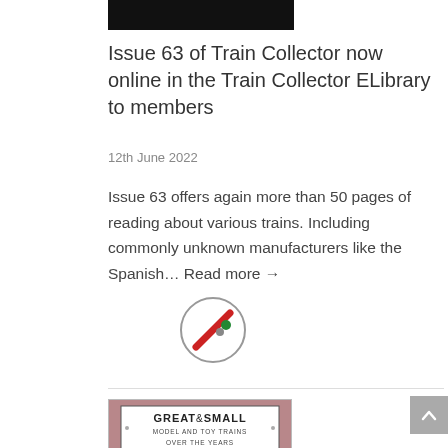[Figure (photo): Partial dark/black image at the top, cropped]
Issue 63 of Train Collector now online in the Train Collector ELibrary to members
12th June 2022
Issue 63 offers again more than 50 pages of reading about various trains. Including commonly unknown manufacturers like the Spanish... Read more →
[Figure (logo): Circular icon with a red diagonal slash and green/grey dots — a 'no' or restriction symbol]
[Figure (photo): Book cover: GREAT & SMALL MODEL AND TOY TRAINS OVER THE YEARS, showing a vintage locomotive on a viaduct]